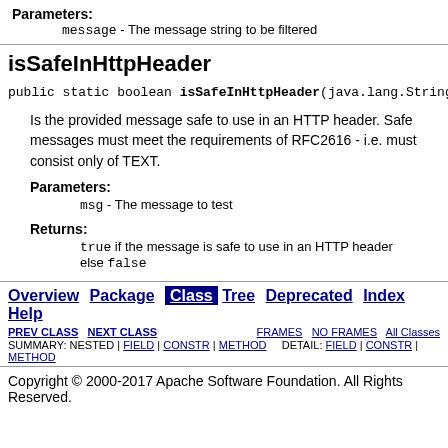Parameters: message - The message string to be filtered
isSafeInHttpHeader
public static boolean isSafeInHttpHeader(java.lang.String
Is the provided message safe to use in an HTTP header. Safe messages must meet the requirements of RFC2616 - i.e. must consist only of TEXT.
Parameters: msg - The message to test
Returns: true if the message is safe to use in an HTTP header else false
Overview Package Class Tree Deprecated Index Help | PREV CLASS NEXT CLASS FRAMES NO FRAMES All Classes SUMMARY: NESTED | FIELD | CONSTR | METHOD DETAIL: FIELD | CONSTR | METHOD
Copyright © 2000-2017 Apache Software Foundation. All Rights Reserved.